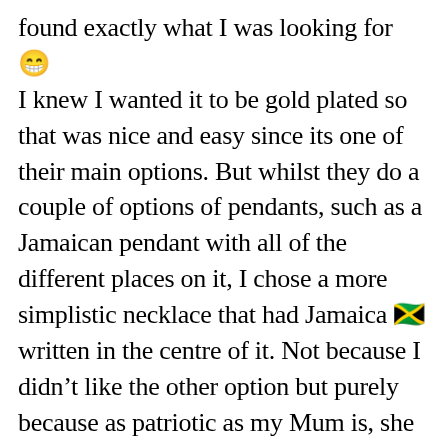found exactly what I was looking for 😁 I knew I wanted it to be gold plated so that was nice and easy since its one of their main options. But whilst they do a couple of options of pendants, such as a Jamaican pendant with all of the different places on it, I chose a more simplistic necklace that had Jamaica 🇯🇲 written in the centre of it. Not because I didn't like the other option but purely because as patriotic as my Mum is, she is also someone that doesn't like too much fanfare. So I figured the necklace I chose, would suit her personal style a bit more.